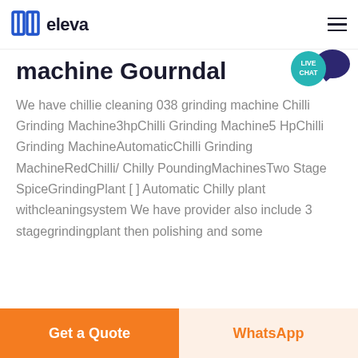eleva
machine Gourndal
We have chillie cleaning 038 grinding machine Chilli Grinding Machine3hpChilli Grinding Machine5 HpChilli Grinding MachineAutomaticChilli Grinding MachineRedChilli/ Chilly PoundingMachinesTwo Stage SpiceGrindingPlant [ ] Automatic Chilly plant withcleaningsystem We have provider also include 3 stagegrindingplant then polishing and some
Get a Quote | WhatsApp